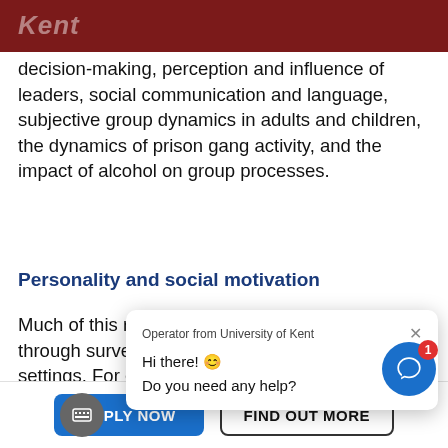Kent
decision-making, perception and influence of leaders, social communication and language, subjective group dynamics in adults and children, the dynamics of prison gang activity, and the impact of alcohol on group processes.
Personality and social motivation
Much of this research is conducted through surveys and experiments in real-world settings. For example, studies of alcohol and aggression, the causes, experiences and consequences of mortality salience.